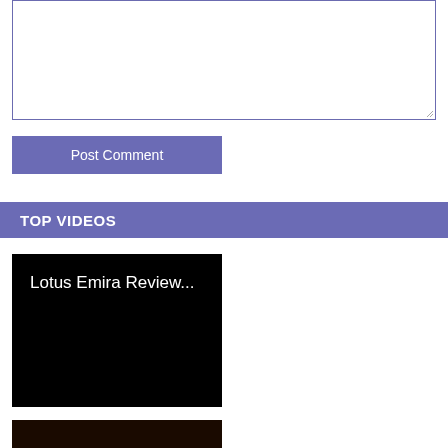[Figure (screenshot): Empty comment text area input box with blue-purple border and resize handle at bottom-right]
[Figure (screenshot): Post Comment button with purple-blue background and white text]
TOP VIDEOS
[Figure (screenshot): Black video thumbnail with white text reading 'Lotus Emira Review...']
[Figure (screenshot): Dark video thumbnail, partially visible at bottom of page]